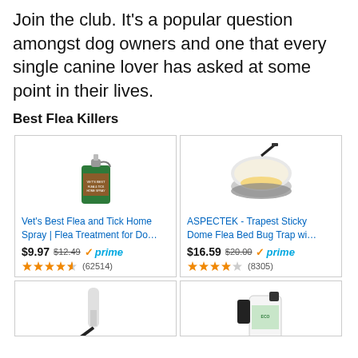Join the club. It's a popular question amongst dog owners and one that every single canine lover has asked at some point in their lives.
Best Flea Killers
[Figure (screenshot): Product card: Vet's Best Flea and Tick Home Spray image]
Vet's Best Flea and Tick Home Spray | Flea Treatment for Do…
$9.97  $12.49  ✓prime
★★★★☆ (62514)
[Figure (screenshot): Product card: ASPECTEK Trapest Sticky Dome Flea Bed Bug Trap image]
ASPECTEK - Trapest Sticky Dome Flea Bed Bug Trap wi…
$16.59  $20.00  ✓prime
★★★★☆ (8305)
[Figure (screenshot): Product card bottom left - partial product image]
[Figure (screenshot): Product card bottom right - partial product image]